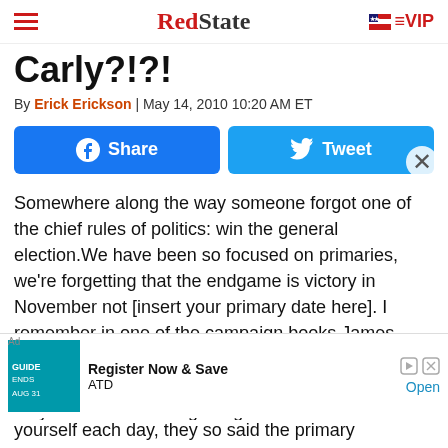RedState | VIP
Carly?!?!
By Erick Erickson | May 14, 2010 10:20 AM ET
[Figure (other): Facebook Share button and Twitter Tweet button side by side]
Somewhere along the way someone forgot one of the chief rules of politics: win the general election.We have been so focused on primaries, we're forgetting that the endgame is victory in November not [insert your primary date here]. I remember in one of the campaign books James Carville and Paul Begala wrote that was actually very good (complete with a great pancake recipe), they wrote that winning the general election was what
[Figure (other): Advertisement banner: Register Now & Save, ATD, Aug 31, Open button]
yourself each day, they so said the primary